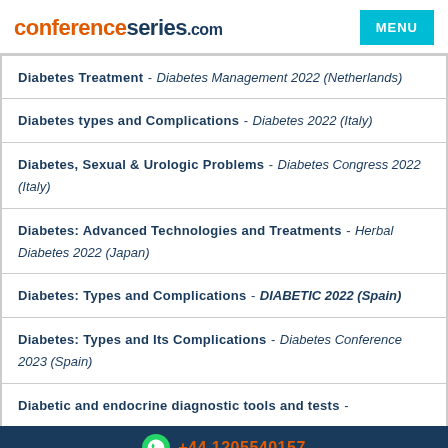conferenceseries.com | MENU
Diabetes Treatment - Diabetes Management 2022 (Netherlands)
Diabetes types and Complications - Diabetes 2022 (Italy)
Diabetes, Sexual & Urologic Problems - Diabetes Congress 2022 (Italy)
Diabetes: Advanced Technologies and Treatments - Herbal Diabetes 2022 (Japan)
Diabetes: Types and Complications - DIABETIC 2022 (Spain)
Diabetes: Types and Its Complications - Diabetes Conference 2023 (Spain)
Diabetic and endocrine diagnostic tools and tests -
+44 1205540157
Diabetic Complications - ENDOCRINOLOGY MEET 2023 (Spain)